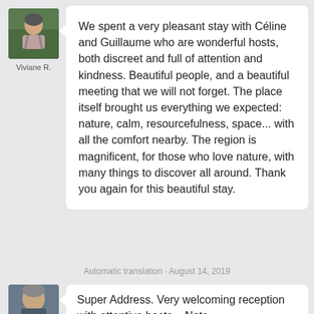[Figure (photo): Profile photo of Viviane R., a woman, outdoors]
Viviane R.
We spent a very pleasant stay with Céline and Guillaume who are wonderful hosts, both discreet and full of attention and kindness. Beautiful people, and a beautiful meeting that we will not forget. The place itself brought us everything we expected: nature, calm, resourcefulness, space... with all the comfort nearby. The region is magnificent, for those who love nature, with many things to discover all around. Thank you again for this beautiful stay.
Automatic translation · August 14, 2019
[Figure (photo): Profile photo of a man, partially visible at bottom of page]
Super Address. Very welcoming reception with attentive hosts. . Note